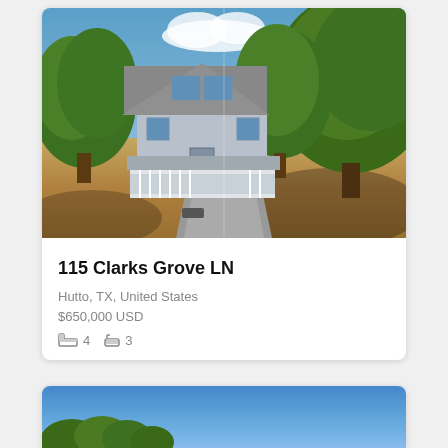[Figure (photo): Aerial/exterior photo of a two-story blue-gray house with a covered porch, surrounded by large green trees, with a driveway and dry lawn.]
115 Clarks Grove LN
Hutto, TX, United States
$650,000 USD
4 beds  3 baths
[Figure (photo): Partial photo of a second property listing showing blue sky and green trees at the bottom of the page.]